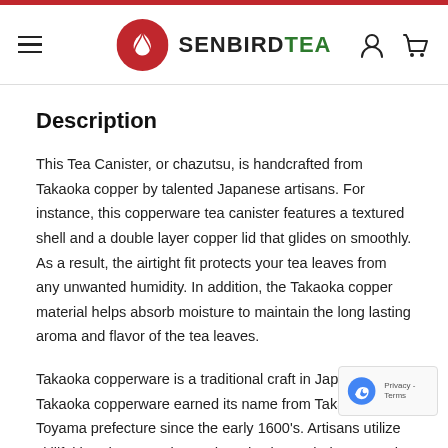SENBIRD TEA
Description
This Tea Canister, or chazutsu, is handcrafted from Takaoka copper by talented Japanese artisans. For instance, this copperware tea canister features a textured shell and a double layer copper lid that glides on smoothly. As a result, the airtight fit protects your tea leaves from any unwanted humidity. In addition, the Takaoka copper material helps absorb moisture to maintain the long lasting aroma and flavor of the tea leaves.
Takaoka copperware is a traditional craft in Japan. In fact, Takaoka copperware earned its name from Takaoka city in Toyama prefecture since the early 1600's. Artisans utilize skillful hands-on casting and production techniques, such as polishing, meta carving and inlaying to create products with this material. O skilled artisans with years of experience can master producing a